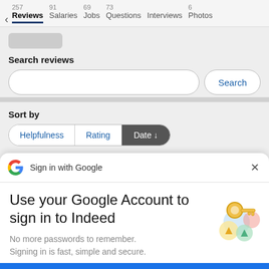257 Reviews  91 Salaries  69 Jobs  73 Questions  Interviews  6 Photos
Search reviews
Sort by
Helpfulness  Rating  Date ↓
Sign in with Google
Use your Google Account to sign in to Indeed
No more passwords to remember. Signing in is fast, simple and secure.
Continue